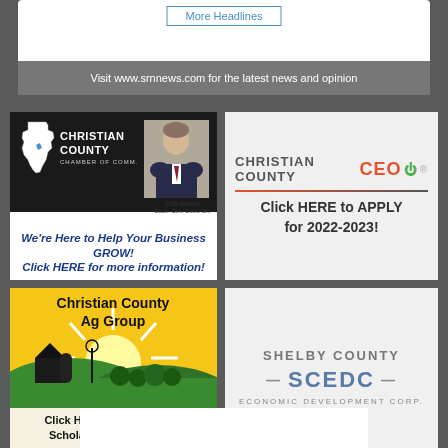More Headlines
Visit www.srnnews.com for the latest news and opinion
[Figure (advertisement): Christian County Chamber of Commerce ad with Dick Adams, Econ. Dev. Exec. Dir. photo on dark background, text: We're Here to Help Your Business GROW! Click HERE for more information!]
[Figure (advertisement): Christian County CEO logo ad with text: Click HERE to APPLY for 2022-2023!]
[Figure (advertisement): Christian County Ag Group ad with sunrise farm illustration and text: Click HERE for This Year's Scholarship Application!]
[Figure (advertisement): Shelby County SCEDC Economic Development Corp. logo ad]